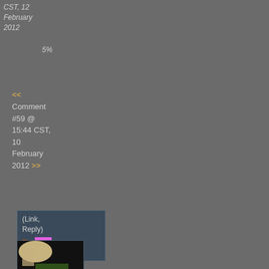CST, 12 February 2012
5%
<< Comment #59 @ 15:44 CST, 10 February 2012 >>
(Link, Reply) By [pink block] vinkieee
[Figure (photo): A dark photo showing a person in a white shirt, partially visible, dark background with some green and light elements at top]